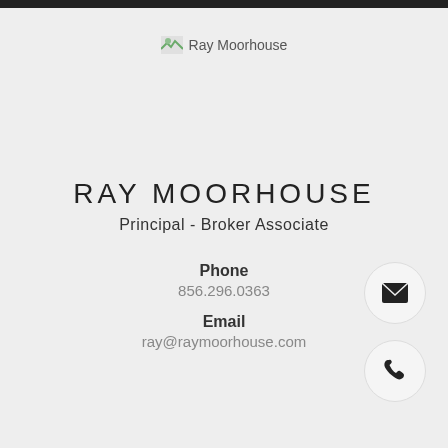[Figure (logo): Ray Moorhouse logo image placeholder with small green/landscape icon]
RAY MOORHOUSE
Principal - Broker Associate
Phone
856.296.0363
Email
ray@raymoorhouse.com